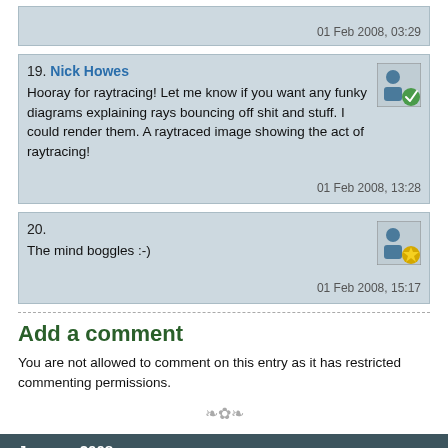01 Feb 2008, 03:29
19. Nick Howes
Hooray for raytracing! Let me know if you want any funky diagrams explaining rays bouncing off shit and stuff. I could render them. A raytraced image showing the act of raytracing!
01 Feb 2008, 13:28
20.
The mind boggles :-)
01 Feb 2008, 15:17
Add a comment
You are not allowed to comment on this entry as it has restricted commenting permissions.
January 2008
| Mo | Tu | We | Th | Fr | Sa | Su |
| --- | --- | --- | --- | --- | --- | --- |
| 1 | 2 | 3 | 4 | 5 | 6 |  |